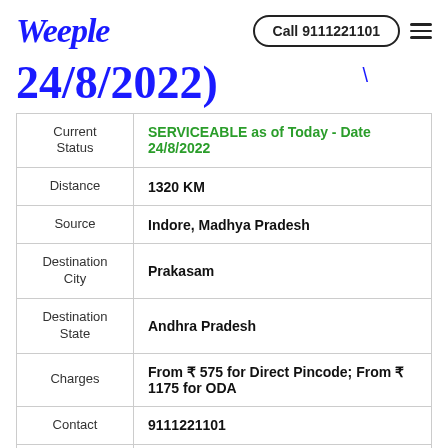Weeple | Call 9111221101
24/8/2022)
| Field | Value |
| --- | --- |
| Current Status | SERVICEABLE as of Today - Date 24/8/2022 |
| Distance | 1320 KM |
| Source | Indore, Madhya Pradesh |
| Destination City | Prakasam |
| Destination State | Andhra Pradesh |
| Charges | From ₹ 575 for Direct Pincode; From ₹ 1175 for ODA |
| Contact | 9111221101 |
| Delivery | Base Deli... |